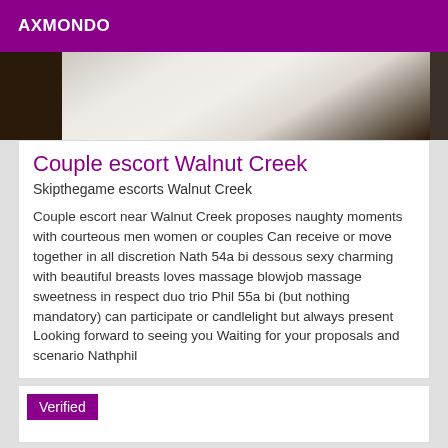AXMONDO
[Figure (photo): Partial photo strip showing blurred light fabric/bedding against a dark background]
Couple escort Walnut Creek
Skipthegame escorts Walnut Creek
Couple escort near Walnut Creek proposes naughty moments with courteous men women or couples Can receive or move together in all discretion Nath 54a bi dessous sexy charming with beautiful breasts loves massage blowjob massage sweetness in respect duo trio Phil 55a bi (but nothing mandatory) can participate or candlelight but always present Looking forward to seeing you Waiting for your proposals and scenario Nathphil
Verified